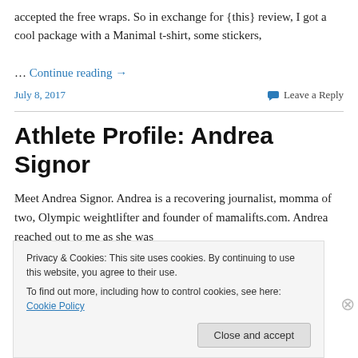accepted the free wraps. So in exchange for {this} review, I got a cool package with a Manimal t-shirt, some stickers, … Continue reading →
July 8, 2017   Leave a Reply
Athlete Profile: Andrea Signor
Meet Andrea Signor. Andrea is a recovering journalist, momma of two, Olympic weightlifter and founder of mamalifts.com. Andrea reached out to me as she was
Privacy & Cookies: This site uses cookies. By continuing to use this website, you agree to their use. To find out more, including how to control cookies, see here: Cookie Policy   Close and accept